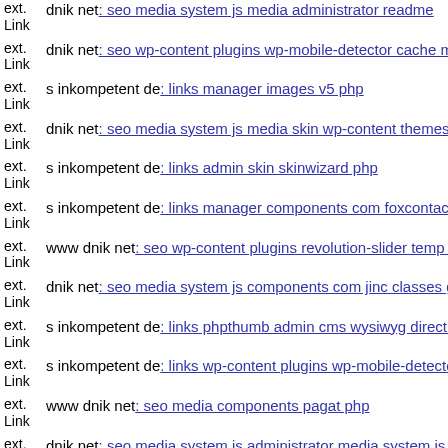ext. Link dnik net: seo media system js media administrator readme
ext. Link dnik net: seo wp-content plugins wp-mobile-detector cache mo
ext. Link s inkompetent de: links manager images v5 php
ext. Link dnik net: seo media system js media skin wp-content themes fr
ext. Link s inkompetent de: links admin skin skinwizard php
ext. Link s inkompetent de: links manager components com foxcontact v
ext. Link www dnik net: seo wp-content plugins revolution-slider temp u
ext. Link dnik net: seo media system js components com jinc classes gra
ext. Link s inkompetent de: links phpthumb admin cms wysiwyg directiv
ext. Link s inkompetent de: links wp-content plugins wp-mobile-detector
ext. Link www dnik net: seo media components pagat php
ext. Link dnik net: seo media system js administrator media system js th